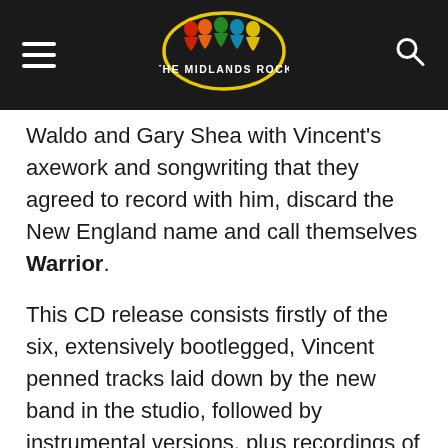THE MIDLANDS ROCK [logo]
Waldo and Gary Shea with Vincent's axework and songwriting that they agreed to record with him, discard the New England name and call themselves Warrior.
This CD release consists firstly of the six, extensively bootlegged, Vincent penned tracks laid down by the new band in the studio, followed by instrumental versions, plus recordings of some of the songs with a different vocalist… more on that later. They are relatively primitive recordings – this was 35 years ago – but are a level or two above demo quality thanks to the skill and patience of Tony Dixon's Masterpiece company in remastering the tracks.
All that said, there's a considerable variation in the writing quality of these six songs. 'Boys Gonna Rock' and 'It's Not